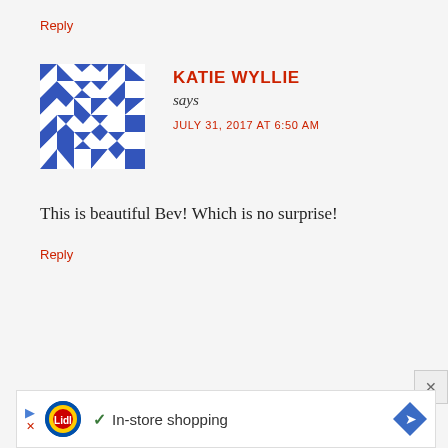Reply
[Figure (illustration): Blue and white geometric/quilt pattern avatar for Katie Wyllie]
KATIE WYLLIE says JULY 31, 2017 AT 6:50 AM
This is beautiful Bev! Which is no surprise!
Reply
[Figure (screenshot): Advertisement banner: Lidl in-store shopping ad with play button, Lidl logo, checkmark, text and arrow icon]